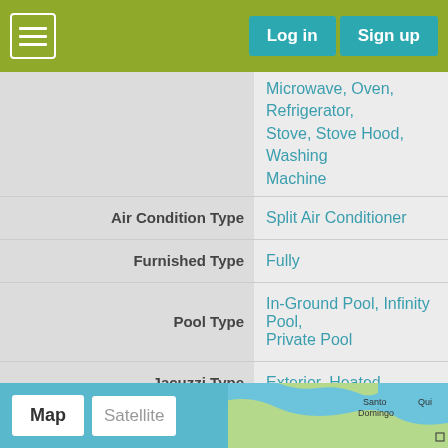Log in  Sign up
| Property | Value |
| --- | --- |
|  | Microwave, Oven, Refrigerator, Stove, Stove Hood, Washing Machine |
| Air Condition Type | Split Air Conditioner |
| Furnished Type | Fully |
| Pool Type | In-Ground Pool, Infinity Pool, Private Pool |
| Jacuzzi Type | Exterior, Heated |
| Parking Type | Driveway, Garage |
| Number of Parking Spaces | 4 |
[Figure (map): Map section at bottom showing Map and Satellite tabs with a partial map view of Santo Domingo area]